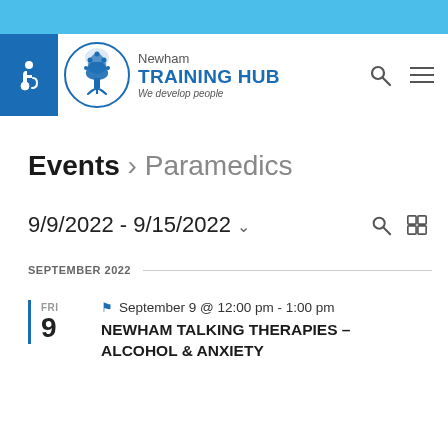[Figure (logo): Newham Training Hub logo with accessibility icon, tree logo circle, and brand text 'Newham TRAINING HUB We develop people']
Events › Paramedics
9/9/2022 - 9/15/2022
SEPTEMBER 2022
FRI 9 — September 9 @ 12:00 pm - 1:00 pm — NEWHAM TALKING THERAPIES – ALCOHOL & ANXIETY